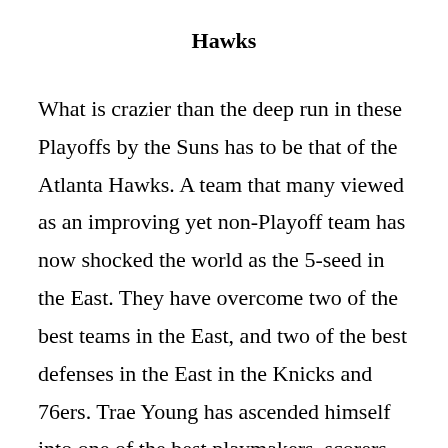Hawks
What is crazier than the deep run in these Playoffs by the Suns has to be that of the Atlanta Hawks. A team that many viewed as an improving yet non-Playoff team has now shocked the world as the 5-seed in the East. They have overcome two of the best teams in the East, and two of the best defenses in the East in the Knicks and 76ers. Trae Young has ascended himself into one of the best playmakers, scorers, and